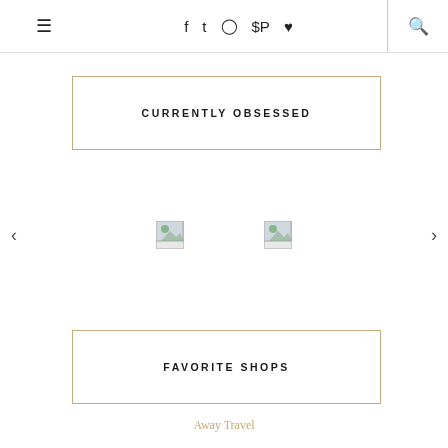≡ f t ⊡ ⊕ ♥ | 🔍
CURRENTLY OBSESSED
[Figure (screenshot): Carousel with left and right navigation arrows and two image placeholder thumbnails]
FAVORITE SHOPS
Away Travel